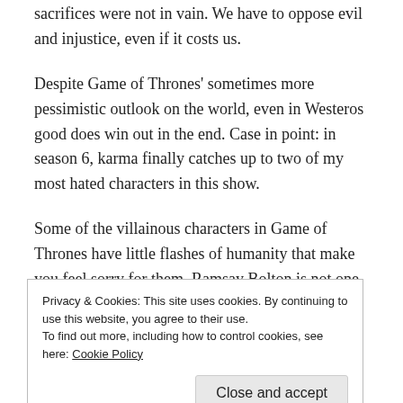sacrifices were not in vain. We have to oppose evil and injustice, even if it costs us.
Despite Game of Thrones' sometimes more pessimistic outlook on the world, even in Westeros good does win out in the end. Case in point: in season 6, karma finally catches up to two of my most hated characters in this show.
Some of the villainous characters in Game of Thrones have little flashes of humanity that make you feel sorry for them. Ramsay Bolton is not one of those characters.
Privacy & Cookies: This site uses cookies. By continuing to use this website, you agree to their use.
To find out more, including how to control cookies, see here: Cookie Policy
[Close and accept]
Despite the odds against him, Jon wins back Winterfell,